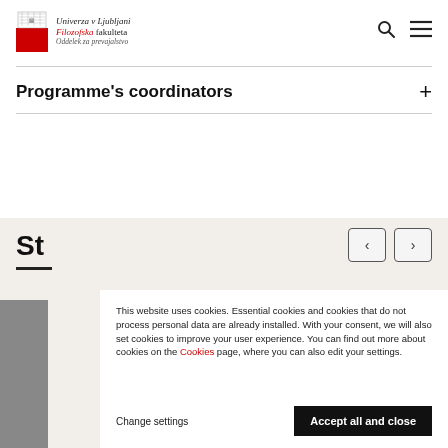[Figure (logo): Univerza v Ljubljani Filozofska fakulteta logo with red square and building illustration]
Programme's coordinators
This website uses cookies. Essential cookies and cookies that do not process personal data are already installed. With your consent, we will also set cookies to improve your user experience. You can find out more about cookies on the Cookies page, where you can also edit your settings.
Change settings
Accept all and close